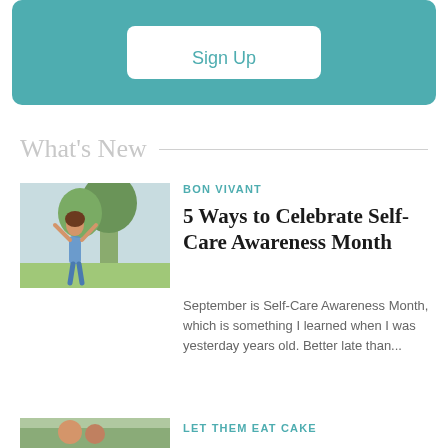[Figure (other): Teal/turquoise rounded rectangle banner with a Sign Up button in white]
Sign Up
What's New
[Figure (photo): Woman with arms raised outdoors near trees, appearing joyful]
BON VIVANT
5 Ways to Celebrate Self-Care Awareness Month
September is Self-Care Awareness Month, which is something I learned when I was yesterday years old. Better late than...
[Figure (photo): Partial image at bottom, appears to show people outdoors]
LET THEM EAT CAKE